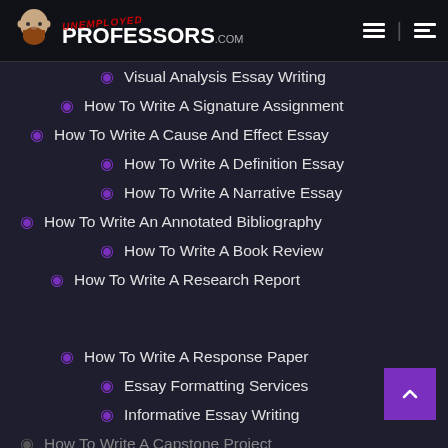Unemployed Professors .com
Visual Analysis Essay Writing
How To Write A Signature Assignment
How To Write A Cause And Effect Essay
How To Write A Definition Essay
How To Write A Narrative Essay
How To Write An Annotated Bibliography
How To Write A Book Review
How To Write A Research Report
How To Write A Response Paper
Essay Formatting Services
Informative Essay Writing
How To Write A Capstone Project